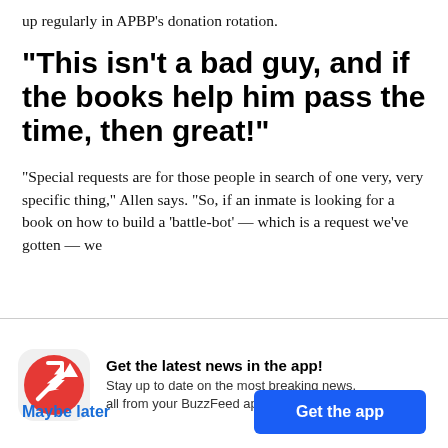up regularly in APBP’s donation rotation.
“This isn’t a bad guy, and if the books help him pass the time, then great!”
“Special requests are for those people in search of one very, very specific thing,” Allen says. “So, if an inmate is looking for a book on how to build a ‘battle-bot’ — which is a request we’ve gotten — we
Get the latest news in the app! Stay up to date on the most breaking news, all from your BuzzFeed app.
Maybe later
Get the app